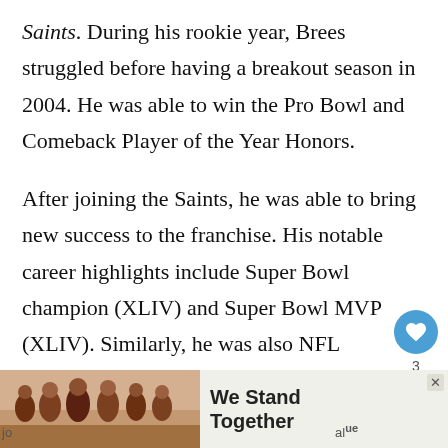Saints. During his rookie year, Brees struggled before having a breakout season in 2004. He was able to win the Pro Bowl and Comeback Player of the Year Honors.
After joining the Saints, he was able to bring new success to the franchise. His notable career highlights include Super Bowl champion (XLIV) and Super Bowl MVP (XLIV). Similarly, he was also NFL Offensive Player of the Year twice and so on.
Additionally, Brees also set many NFL records before he retired in 2020. After his retirement, he jo… al…
[Figure (other): Advertisement banner at the bottom of the page showing people with arms around each other and the text 'We Stand Together' with a close button]